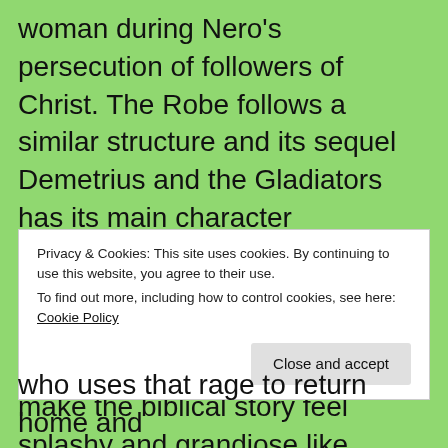woman during Nero's persecution of followers of Christ. The Robe follows a similar structure and its sequel Demetrius and the Gladiators has its main character essentially lose his way while participating in the arena. There are some exceptions, it can work without the human story if you make the biblical story feel splashy and grandiose like DeMille's The King of Kings from 1927. However you can also end up with 1961's
Privacy & Cookies: This site uses cookies. By continuing to use this website, you agree to their use.
To find out more, including how to control cookies, see here: Cookie Policy
who uses that rage to return home and